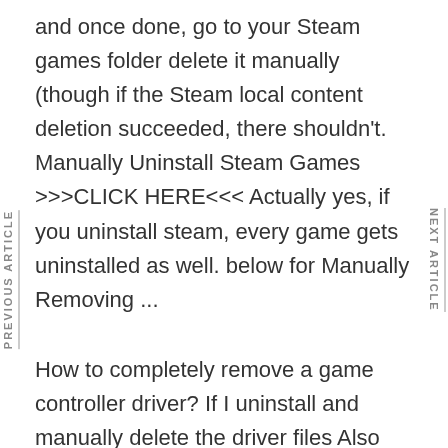and once done, go to your Steam games folder delete it manually (though if the Steam local content deletion succeeded, there shouldn't. Manually Uninstall Steam Games >>>CLICK HERE<<< Actually yes, if you uninstall steam, every game gets uninstalled as well. below for Manually Removing ...
How to completely remove a game controller driver? If I uninstall and manually delete the driver files Also check for duplicated driver names and remove them.
2018-06-10 · Step by step: Windows 10 1) Left click on your windows button in the bottom left of your screen. 2) Scroll all the way down to the